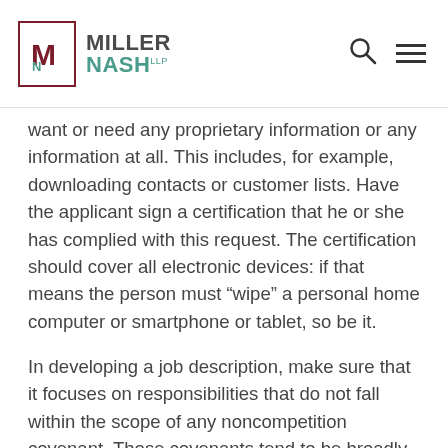Miller Nash LLP
want or need any proprietary information or any information at all. This includes, for example, downloading contacts or customer lists. Have the applicant sign a certification that he or she has complied with this request. The certification should cover all electronic devices: if that means the person must “wipe” a personal home computer or smartphone or tablet, so be it.
In developing a job description, make sure that it focuses on responsibilities that do not fall within the scope of any noncompetition covenant. Those covenants tend to be broadly worded, so take care to customize the job description. Consider customizing it with language that explicitly prohibits